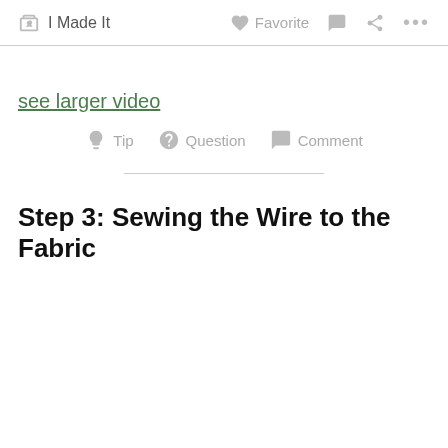✋ I Made It   ♡ Favorite   💬   ⋮⋮⋮
see larger video
💡 Tip   ? Question   💬 Comment
Step 3: Sewing the Wire to the Fabric